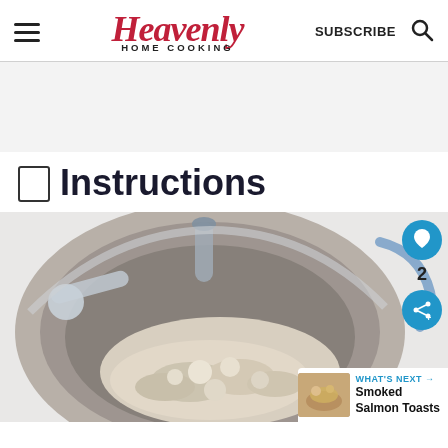Heavenly HOME COOKING | SUBSCRIBE
Instructions
[Figure (photo): Overhead view of a KitchenAid stand mixer bowl with flour/butter mixture being mixed, showing the dough hook attachment and bowl interior with crumbly dough]
WHAT'S NEXT → Smoked Salmon Toasts